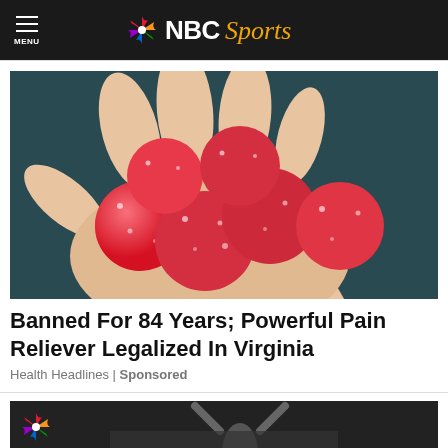NBC Sports
[Figure (photo): A hand holding several red sugary gummy candies against a dark background]
Banned For 84 Years; Powerful Pain Reliever Legalized In Virginia
Health Headlines | Sponsored
[Figure (photo): Bottom partial image of NBC Sports content showing an NBC peacock logo and a person with raised hands]